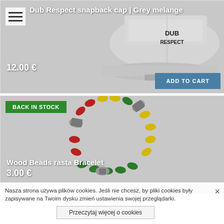[Figure (photo): Grey melange snapback cap with 'DUB RESPECT' embroidered text on grey background]
Dub Respect snapback cap | Grey melange
12.00 €
[Figure (photo): Colorful wood beads rasta bracelet with green, yellow, red beads and silver metallic beads on grey background]
BACK IN STOCK
Wood Beads rasta Bracelet
3.00 €
Nasza strona używa plików cookies. Jeśli nie chcesz, by pliki cookies były zapisywane na Twoim dysku zmień ustawienia swojej przeglądarki.
Przeczytaj więcej o cookies